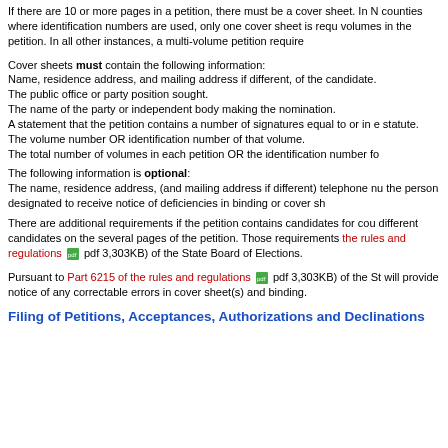If there are 10 or more pages in a petition, there must be a cover sheet. In N counties where identification numbers are used, only one cover sheet is requ volumes in the petition. In all other instances, a multi-volume petition require
Cover sheets must contain the following information:
Name, residence address, and mailing address if different, of the candidate.
The public office or party position sought.
The name of the party or independent body making the nomination.
A statement that the petition contains a number of signatures equal to or in e statute.
The volume number OR identification number of that volume.
The total number of volumes in each petition OR the identification number fo
The following information is optional:
The name, residence address, (and mailing address if different) telephone nu the person designated to receive notice of deficiencies in binding or cover sh
There are additional requirements if the petition contains candidates for cou different candidates on the several pages of the petition. Those requirements the rules and regulations (pdf 3,303KB) of the State Board of Elections.
Pursuant to Part 6215 of the rules and regulations (pdf 3,303KB) of the St will provide notice of any correctable errors in cover sheet(s) and binding.
Filing of Petitions, Acceptances, Authorizations and Declinations